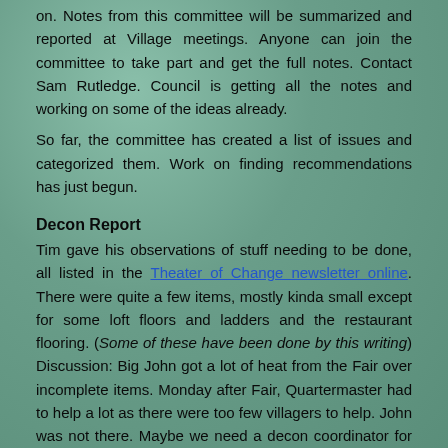on. Notes from this committee will be summarized and reported at Village meetings. Anyone can join the committee to take part and get the full notes. Contact Sam Rutledge. Council is getting all the notes and working on some of the ideas already.
So far, the committee has created a list of issues and categorized them. Work on finding recommendations has just begun.
Decon Report
Tim gave his observations of stuff needing to be done, all listed in the Theater of Change newsletter online. There were quite a few items, mostly kinda small except for some loft floors and ladders and the restaurant flooring. (Some of these have been done by this writing) Discussion: Big John got a lot of heat from the Fair over incomplete items. Monday after Fair, Quartermaster had to help a lot as there were too few villagers to help. John was not there. Maybe we need a decon coordinator for each booth. Maybe we need two decon passes. Maybe each booth needs a general village + booth specific decon checklist. Some booths have this already. Need redundant communication so responsibility is clear. Booth Coordinators need to step up and assume